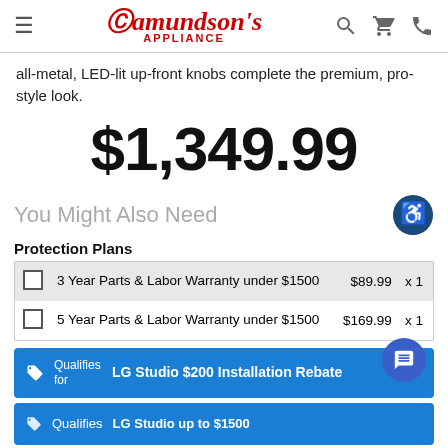Amundson's Appliance
all-metal, LED-lit up-front knobs complete the premium, pro-style look.
$1,349.99
You Might Also Need
Protection Plans
|  | Description | Price | Qty |
| --- | --- | --- | --- |
| ☐ | 3 Year Parts & Labor Warranty under $1500 | $89.99 | x 1 |
| ☐ | 5 Year Parts & Labor Warranty under $1500 | $169.99 | x 1 |
Qualifies for  LG Studio $200 Installation Rebate
Qualifies  LG Studio up to $1500